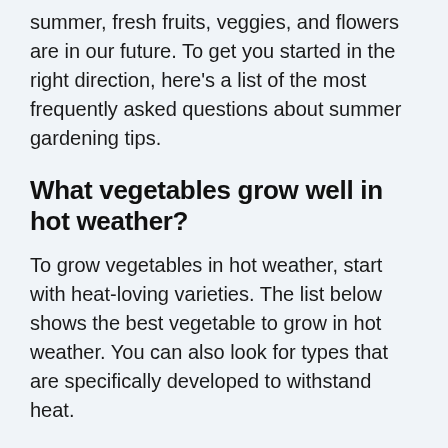summer, fresh fruits, veggies, and flowers are in our future. To get you started in the right direction, here's a list of the most frequently asked questions about summer gardening tips.
What vegetables grow well in hot weather?
To grow vegetables in hot weather, start with heat-loving varieties. The list below shows the best vegetable to grow in hot weather. You can also look for types that are specifically developed to withstand heat.
Tomatoes: We all know tomatoes are a classic vegetable and perfect for summer